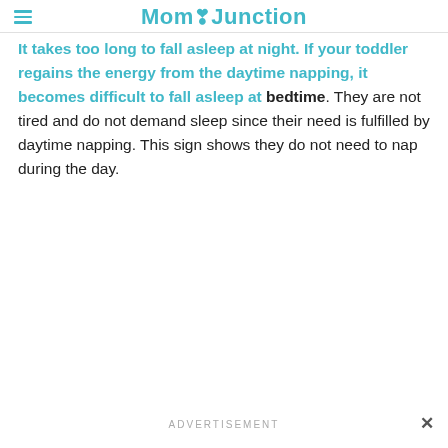MomJunction
It takes too long to fall asleep at night. If your toddler regains the energy from the daytime napping, it becomes difficult to fall asleep at bedtime. They are not tired and do not demand sleep since their need is fulfilled by daytime napping. This sign shows they do not need to nap during the day.
ADVERTISEMENT